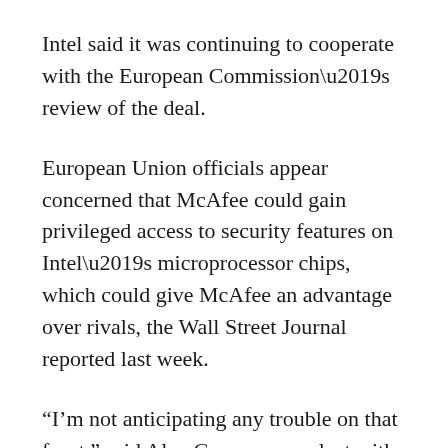Intel said it was continuing to cooperate with the European Commission’s review of the deal.
European Union officials appear concerned that McAfee could gain privileged access to security features on Intel’s microprocessor chips, which could give McAfee an advantage over rivals, the Wall Street Journal reported last week.
“I’m not anticipating any trouble on that front,” said Alex Gauna, an analyst with JMP Securities.
“My supposition here is that it is simply taking a bit